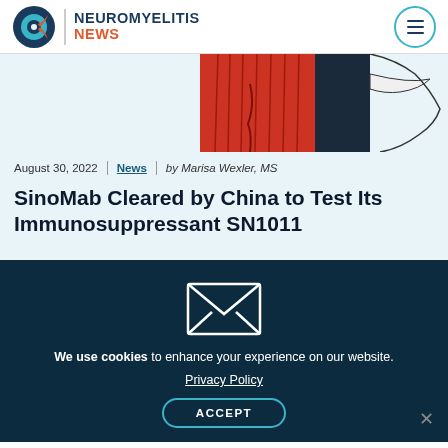NEUROMYELITIS NEWS
[Figure (illustration): Partial illustration showing a figure in red and dark blue tones, cropped at top]
August 30, 2022 | News | by Marisa Wexler, MS
SinoMab Cleared by China to Test Its Immunosuppressant SN1011
[Figure (illustration): White envelope icon on dark teal background]
We use cookies to enhance your experience on our website. Privacy Policy ACCEPT